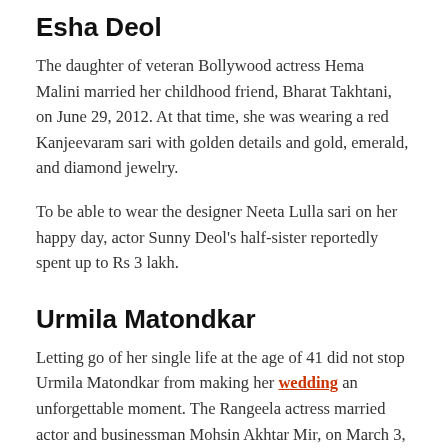Esha Deol
The daughter of veteran Bollywood actress Hema Malini married her childhood friend, Bharat Takhtani, on June 29, 2012. At that time, she was wearing a red Kanjeevaram sari with golden details and gold, emerald, and diamond jewelry.
To be able to wear the designer Neeta Lulla sari on her happy day, actor Sunny Deol's half-sister reportedly spent up to Rs 3 lakh.
Urmila Matondkar
Letting go of her single life at the age of 41 did not stop Urmila Matondkar from making her wedding an unforgettable moment. The Rangeela actress married actor and businessman Mohsin Akhtar Mir, on March 3, 2016.